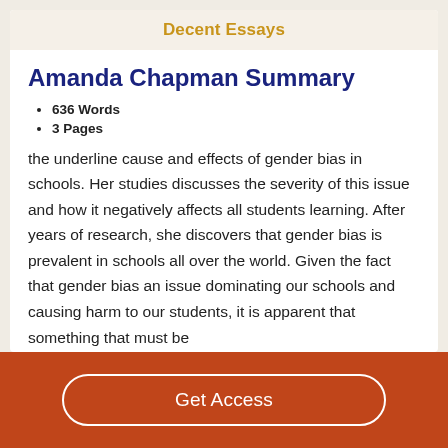Decent Essays
Amanda Chapman Summary
636 Words
3 Pages
the underline cause and effects of gender bias in schools. Her studies discusses the severity of this issue and how it negatively affects all students learning. After years of research, she discovers that gender bias is prevalent in schools all over the world. Given the fact that gender bias an issue dominating our schools and causing harm to our students, it is apparent that something that must be
Get Access